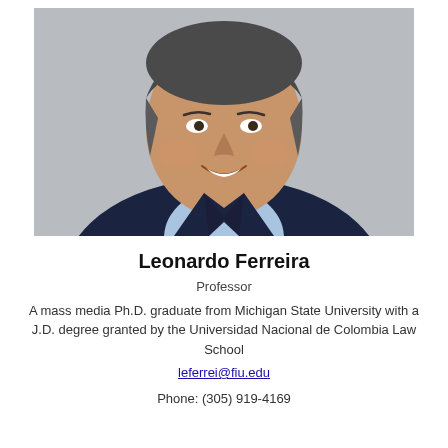[Figure (photo): Professional headshot of Leonardo Ferreira, a middle-aged man with gray-streaked dark hair, smiling, wearing a dark navy blazer over a light blue shirt, against a light gray background.]
Leonardo Ferreira
Professor
A mass media Ph.D. graduate from Michigan State University with a J.D. degree granted by the Universidad Nacional de Colombia Law School
leferrei@fiu.edu

Phone: (305) 919-4169